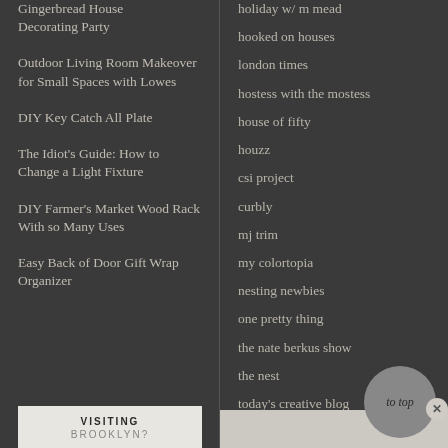Gingerbread House Decorating Party
Outdoor Living Room Makeover for Small Spaces with Lowes
DIY Key Catch All Plate
The Idiot's Guide: How to Change a Light Fixture
DIY Farmer's Market Wood Rack With so Many Uses
Easy Back of Door Gift Wrap Organizer
holiday w/ m mead
hooked on houses
london times
hostess with the mostess
house of fifty
houzz
csi project
curbly
mj trim
my colortopia
nesting newbies
one pretty thing
the nate berkus show
the nest
today's creative blog
uncommon goods
woman's day
VISITING BROOKLYN?